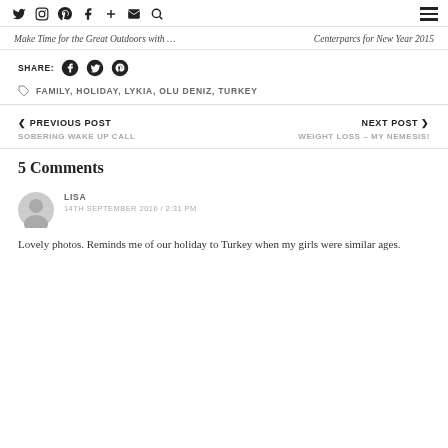Navigation icons: Twitter, Instagram, Pinterest, Facebook, Plus, Mail, Search, Hamburger menu
Make Time for the Great Outdoors with ...
Centerparcs for New Year 2015
SHARE: Facebook, Twitter, Pinterest
FAMILY, HOLIDAY, LYKIA, OLU DENIZ, TURKEY
< PREVIOUS POST
SOBERING WAKE UP CALL
NEXT POST >
WEIGHT LOSS – MY NEMESIS!
5 Comments
LISA
14TH SEPTEMBER 2016 / 2:31 PM
Lovely photos. Reminds me of our holiday to Turkey when my girls were similar ages.